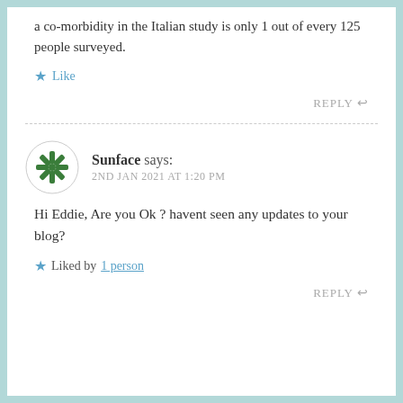a co-morbidity in the Italian study is only 1 out of every 125 people surveyed.
Like
REPLY
Sunface says:
2ND JAN 2021 AT 1:20 PM
Hi Eddie, Are you Ok ? havent seen any updates to your blog?
Liked by 1 person
REPLY